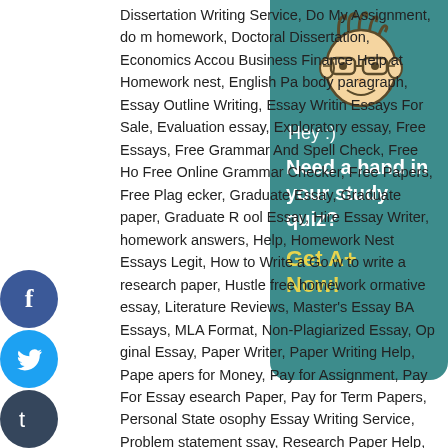[Figure (illustration): Cartoon face avatar with glasses on teal/green background sidebar panel]
Dissertation Writing Service, Do My Assignment, do my homework, Doctoral Dissertation, Economics Accounting, Business Finance Help at Homework nest, English Paper body paragraph, Essay Outline Writing, Essay Writing, Essays For Sale, Evaluation essay, Exploratory essay, Free Essays, Free Grammar And Spell Check, Free Ho Free Online Grammar Checker, Free Papers, Free Plag ecker, Graduate Essay, Graduate paper, Graduate R ool Essay, Hire Essay Writer, homework answers, Help, Homework Nest Essays Legit, How to Write a Go w to write a research paper, Hustle free homework ormative essay, Literature Reviews, Master's Essay BA Essays, MLA Format, Non-Plagiarized Essay, Op ginal Essay, Paper Writer, Paper Writing Help, Pape apers for Money, Pay for Assignment, Pay For Essay esearch Paper, Pay for Term Papers, Personal State osophy Essay Writing Service, Problem statement ssay, Research Paper Help, Research Paper Writing earch Papers for Sale, Research Proposal, Resea ting Service, Resume Writing Services APA, Sample ience Essay, Science Paper, Shakespeare Essay, Sociology ay, Speech Help, Speech Writing Service, Term Paper Editing, rm Paper Help, Term Paper Writing Service, Thesis Help, Thesis iter, Thesis Writing, University Essay, Write My College Essay, te My Essay for Me, Write My Paper, Write My Paper for Cheap,
Hey :)
Need a hand in your study quiz?
Get A+ Now!